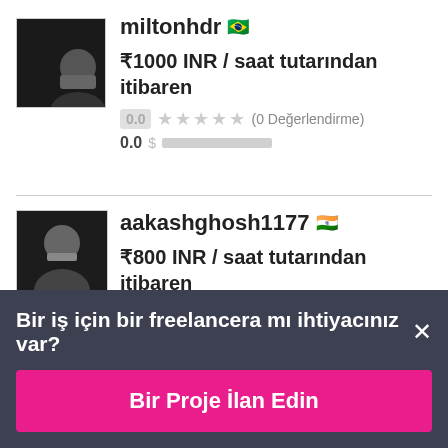miltonhdr 🇧🇷
₹1000 INR / saat tutarından itibaren
0.0 ★★★★★ (0 Değerlendirme)
0.0
aakashghosh1177 🇮🇳
₹800 INR / saat tutarından itibaren
Bir iş için bir freelancera mı ihtiyacınız var? ×
Bir Proje İlan Edin